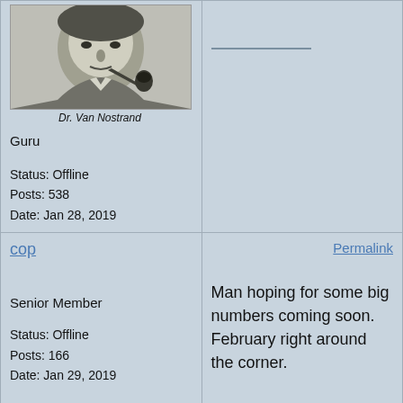[Figure (photo): Black and white photo of Dr. Van Nostrand, a man with a pipe in his mouth]
Dr. Van Nostrand
Guru

Status: Offline
Posts: 538
Date: Jan 28, 2019
cop
Permalink
Senior Member

Status: Offline
Posts: 166
Date: Jan 29, 2019
Man hoping for some big numbers coming soon. February right around the corner.
allycat
Permalink
Veteran Member
Did someone say